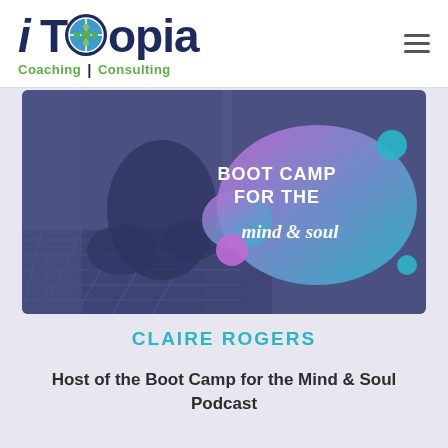[Figure (logo): iTopia Coaching Consulting logo with globe/puzzle icon]
[Figure (photo): Person seated with legs crossed on a rug, overlaid with a purple-teal blob graphic reading BOOT CAMP FOR THE mind & soul]
CLAIRE ROGERS
Host of the Boot Camp for the Mind & Soul Podcast